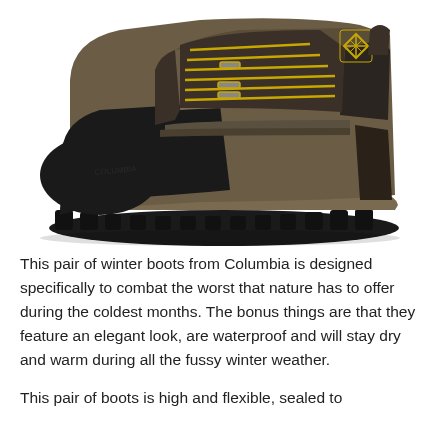[Figure (photo): A Columbia brand winter hiking boot shown from the side. The boot is brown/khaki colored with a black rubber toe cap and sole. Yellow laces and yellow Columbia logo visible on the upper shaft. Heavy treaded outsole.]
This pair of winter boots from Columbia is designed specifically to combat the worst that nature has to offer during the coldest months. The bonus things are that they feature an elegant look, are waterproof and will stay dry and warm during all the fussy winter weather.
This pair of boots is high and flexible, sealed to